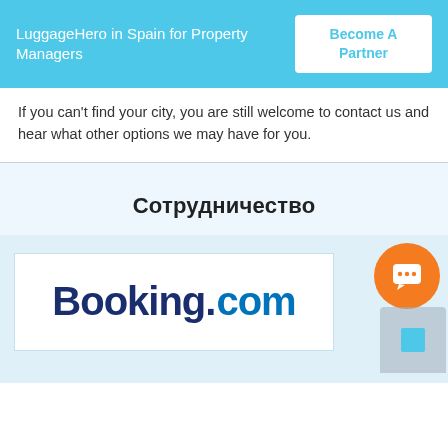LuggageHero in Spain for Property Managers
Become A Partner
If you can't find your city, you are still welcome to contact us and hear what other options we may have for you.
Сотрудничество
[Figure (logo): Booking.com logo in dark blue and blue colors]